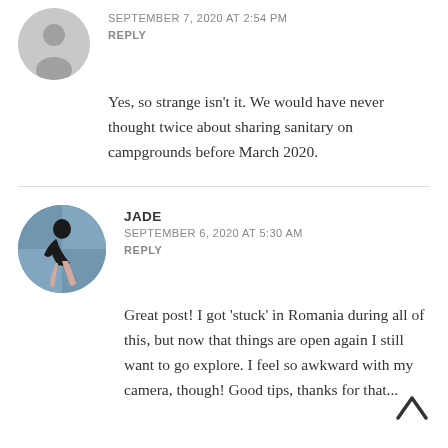[Figure (illustration): Gray circular avatar placeholder icon (silhouette of a person)]
SEPTEMBER 7, 2020 AT 2:54 PM
REPLY
Yes, so strange isn't it. We would have never thought twice about sharing sanitary on campgrounds before March 2020.
[Figure (photo): Circular profile photo of Jade, a person in a dance/yoga pose wearing black top and pink/beige wide-leg pants, against a blue mosaic wall background]
JADE
SEPTEMBER 6, 2020 AT 5:30 AM
REPLY
Great post! I got 'stuck' in Romania during all of this, but now that things are open again I still want to go explore. I feel so awkward with my camera, though! Good tips, thanks for that...